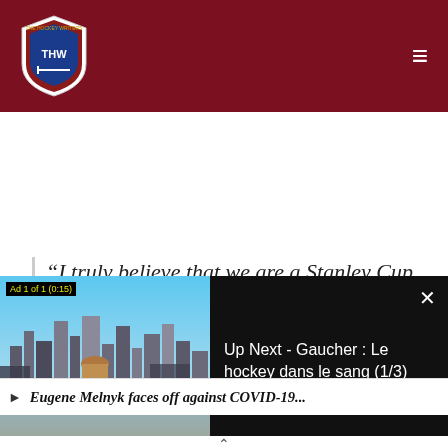[Figure (logo): THW Hockey Writers shield logo on dark red header bar with hamburger menu icon]
“I truly believe that we are a Stanley Cup winner within four years.”
[Figure (screenshot): Video player overlay showing city skyline thumbnail with 'Ad 1 of 1 (0:15)' badge and 'Up Next - Gaucher : Le hockey dans le sang (1/3)' text on black background with close button]
Eugene Melnyk faces off against COVID-19...
×